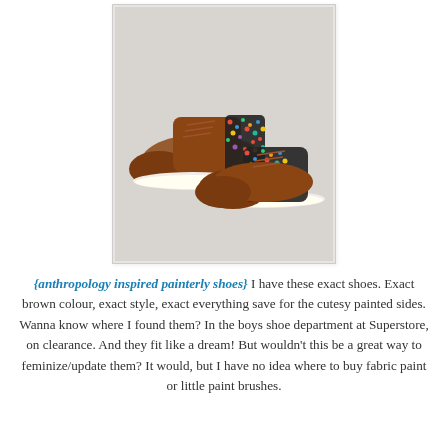[Figure (photo): Product photo of two brown suede chukka-style sneakers with colorful multi-colored confetti/paint speckle pattern on the back and sides, white rubber soles, displayed on a light gray background, inside a light gray bordered box.]
{anthropology inspired painterly shoes} I have these exact shoes. Exact brown colour, exact style, exact everything save for the cutesy painted sides. Wanna know where I found them? In the boys shoe department at Superstore, on clearance. And they fit like a dream! But wouldn't this be a great way to feminize/update them? It would, but I have no idea where to buy fabric paint or little paint brushes.